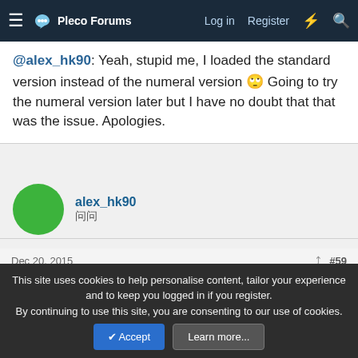Pleco Forums | Log in | Register
@alex_hk90: Yeah, stupid me, I loaded the standard version instead of the numeral version 🙄 Going to try the numeral version later but I have no doubt that that was the issue. Apologies.
alex_hk90 | 问问
Dec 20, 2015 | #59
Abun said: ↑
@alex_hk90: Yeah, stupid me, I loaded the standard version instead of the numeral version 🙄 Going to try the numeral version later but I
This site uses cookies to help personalise content, tailor your experience and to keep you logged in if you register.
By continuing to use this site, you are consenting to our use of cookies.